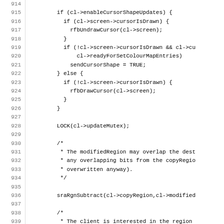[Figure (screenshot): Source code listing with line numbers 914-943 showing C code for cursor drawing logic, mutex locking, and region subtraction]